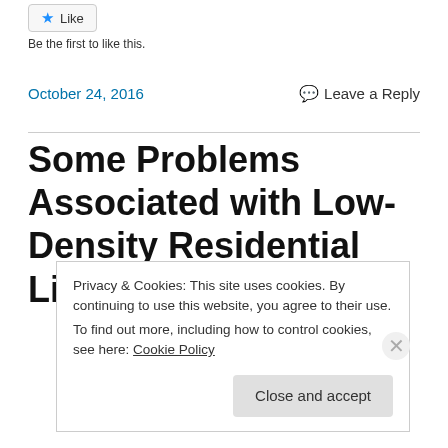[Figure (other): Like button with blue star icon]
Be the first to like this.
October 24, 2016    Leave a Reply
Some Problems Associated with Low-Density Residential Living
Privacy & Cookies: This site uses cookies. By continuing to use this website, you agree to their use.
To find out more, including how to control cookies, see here: Cookie Policy